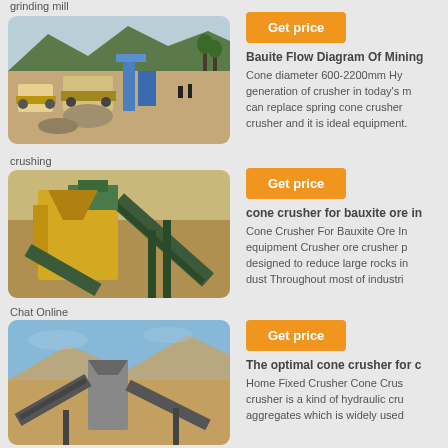grinding mill
[Figure (photo): Mining/crushing site with trucks and heavy equipment, outdoor daylight, mountains in background]
crushing
[Figure (photo): Yellow and green cone crusher machinery at a mining site, outdoor]
Chat Online
[Figure (photo): Cone crusher equipment at outdoor mining site with mountains in background, blue sky]
Get price
Bauite Flow Diagram Of Mining
Cone diameter 600-2200mm Hy generation of crusher in today's m can replace spring cone crusher crusher and it is ideal equipment.
Get price
cone crusher for bauxite ore in
Cone Crusher For Bauxite Ore In equipment Crusher ore crusher p designed to reduce large rocks in dust Throughout most of industri
Get price
The optimal cone crusher for c
Home Fixed Crusher Cone Crus crusher is a kind of hydraulic cru aggregates which is widely used